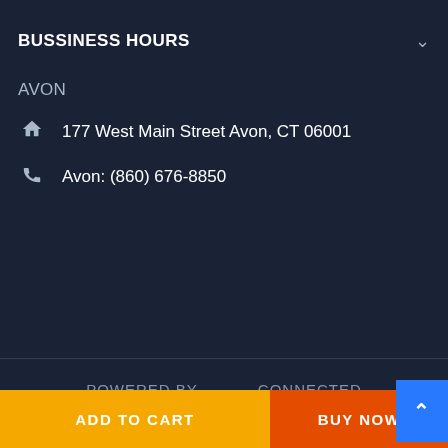BUSSINESS HOURS
AVON
177 West Main Street Avon, CT 06001
Avon: (860) 676-8850
POWERED BY   CONNECTED
ADD TO CART
BUY NOW